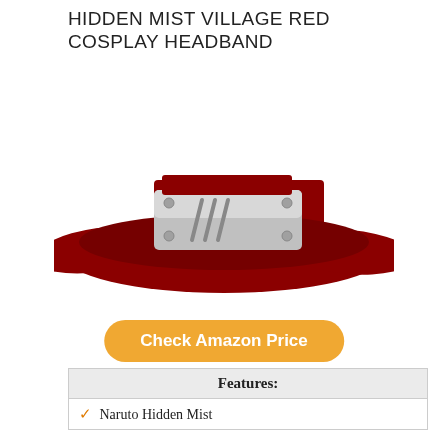HIDDEN MIST VILLAGE RED COSPLAY HEADBAND
[Figure (photo): A red cosplay headband (Hidden Mist Village style from Naruto) with a silver metal plate featuring diagonal slash marks and small circular rivets, displayed on a white background.]
Check Amazon Price
| Features: |
| --- |
| ✓ Naruto Hidden Mist |